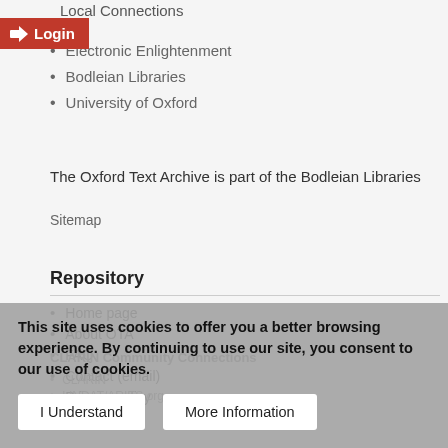Local Connections
[Figure (other): Red login button with right-arrow icon and text 'Login']
Electronic Enlightenment
Bodleian Libraries
University of Oxford
The Oxford Text Archive is part of the Bodleian Libraries
Sitemap
Repository
Home page
About OTA
FAQ
Contact (email)
Privacy policy
CLARIN Community Connections
This site uses cookies to offer you a better browsing experience. By continuing to use our site, you consent to our use of cookies.